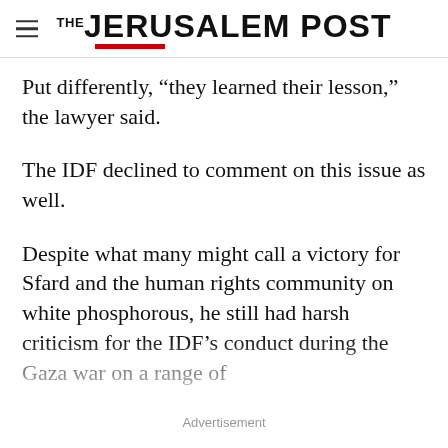THE JERUSALEM POST
Put differently, “they learned their lesson,” the lawyer said.
The IDF declined to comment on this issue as well.
Despite what many might call a victory for Sfard and the human rights community on white phosphorous, he still had harsh criticism for the IDF’s conduct during the Gaza war on a range of
Advertisement